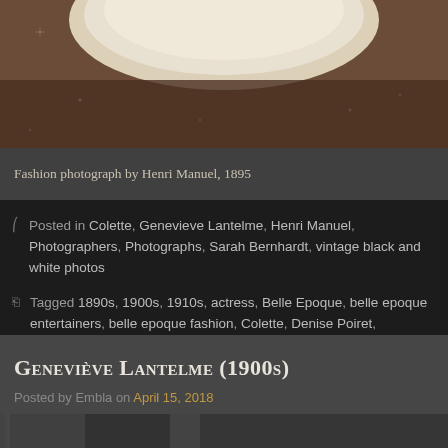[Figure (photo): Partial view of a vintage fashion photograph showing fabric/clothing on a dark brown surface, cropped at top]
Fashion photograph by Henri Manuel, 1895
Posted in Colette, Genevieve Lantelme, Henri Manuel, Photographers, Photographs, Sarah Bernhardt, vintage black and white photos
Tagged 1890s, 1900s, 1910s, actress, Belle Epoque, belle epoque entertainers, belle epoque fashion, Colette, Denise Poiret, Genevieve Lantelme, Henri Manuel, Marie Curie, Régina Badet, Sarah Bernhardt, vintage black and white photos
Geneviève Lantelme (1900s)
Posted by Embla on April 15, 2018
[Figure (photo): Partial view of a vintage black and white photograph, bottom portion visible]